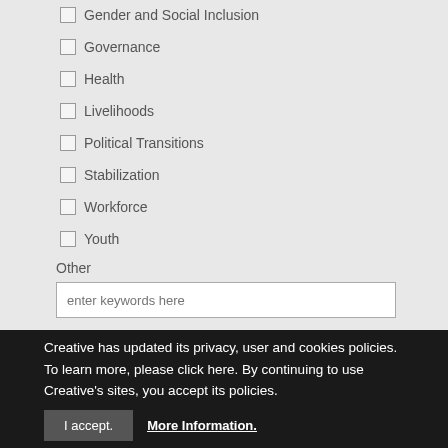Gender and Social Inclusion
Governance
Health
Livelihoods
Political Transitions
Stabilization
Workforce
Youth
Other
enter keywords here
Creative has updated its privacy, user and cookies policies. To learn more, please click here. By continuing to use Creative's sites, you accept its policies.
I accept.
More Information.